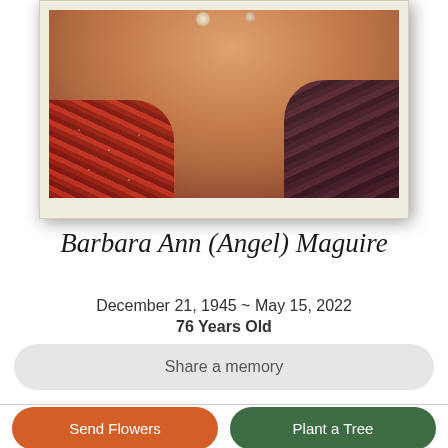[Figure (photo): Portrait photograph of Barbara Ann (Angel) Maguire, showing her neck and shoulders, wearing floral patterned clothing, displayed in a cream/off-white polaroid-style frame with shadow]
Barbara Ann (Angel) Maguire
December 21, 1945 ~ May 15, 2022
76 Years Old
Share a memory
Send Flowers
Plant a Tree